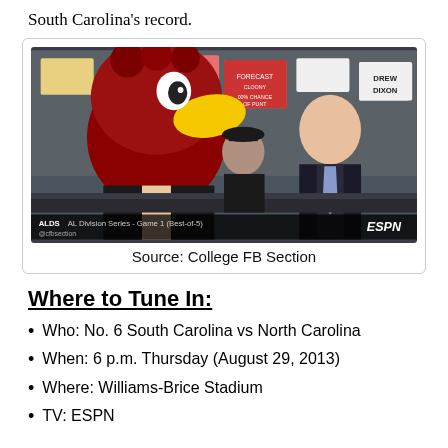South Carolina's record.
[Figure (photo): ESPN broadcast photo showing a person in a South Carolina Gamecocks mascot costume (large red bird head with yellow beak) at an ESPN desk alongside a man in a suit and another person, with a crowd holding signs in the background. A lower-third graphic reads 'ALDS AL Division Series - Game 1 (Best-of-5)' and '@cfbsection'. ESPN logo visible.]
Source: College FB Section
Where to Tune In:
Who: No. 6 South Carolina vs North Carolina
When: 6 p.m. Thursday (August 29, 2013)
Where: Williams-Brice Stadium
TV: ESPN